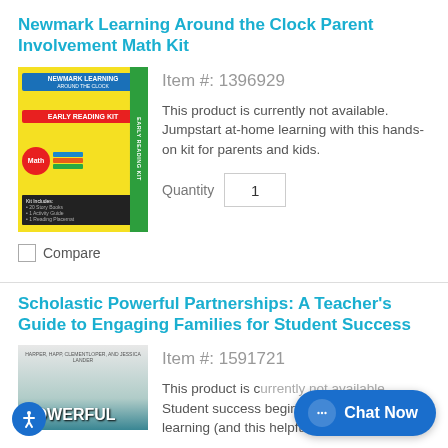Newmark Learning Around the Clock Parent Involvement Math Kit
[Figure (photo): Product image of Newmark Learning Early Reading Kit / Math Kit box]
Item #: 1396929
This product is currently not available. Jumpstart at-home learning with this hands-on kit for parents and kids.
Quantity 1
Compare
Scholastic Powerful Partnerships: A Teacher's Guide to Engaging Families for Student Success
[Figure (photo): Book cover of Scholastic Powerful Partnerships]
Item #: 1591721
This product is currently not available. Student success begins with at-home learning (and this helpful foundational